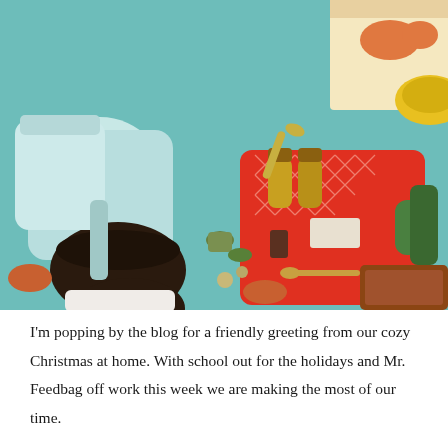[Figure (photo): Overhead/top-down photograph of a kitchen counter scene with a stand mixer on the left, a red patterned tray with bottles and baking ingredients in the center, a child's hands and head visible at the bottom, various measuring spoons, cups, and baking items scattered around on a light teal/green surface.]
I'm popping by the blog for a friendly greeting from our cozy Christmas at home. With school out for the holidays and Mr. Feedbag off work this week we are making the most of our time.